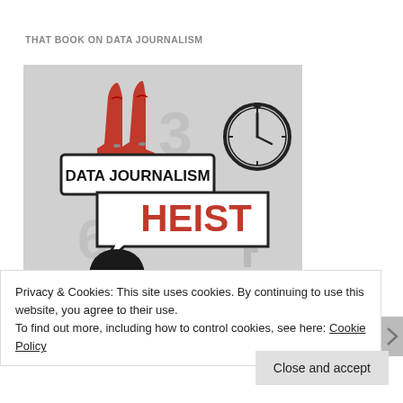THAT BOOK ON DATA JOURNALISM
[Figure (illustration): Book cover image for 'Data Journalism Heist' showing cowboy boots in red, a stopwatch/clock, a cowboy hat, cactus silhouette, and speech bubbles with the text 'DATA JOURNALISM' and 'HEIST' on a gray background with numbers 2, 3, 6.]
Privacy & Cookies: This site uses cookies. By continuing to use this website, you agree to their use.
To find out more, including how to control cookies, see here: Cookie Policy
Close and accept